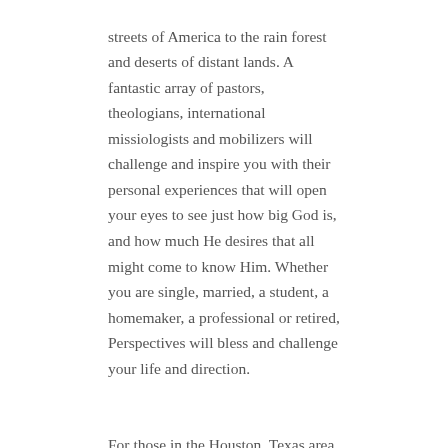streets of America to the rain forest and deserts of distant lands. A fantastic array of pastors, theologians, international missiologists and mobilizers will challenge and inspire you with their personal experiences that will open your eyes to see just how big God is, and how much He desires that all might come to know Him. Whether you are single, married, a student, a homemaker, a professional or retired, Perspectives will bless and challenge your life and direction.
For those in the Houston, Texas area, registration is now open for the Perspectives Fall 2018 credited course, which begins on August 20th. An early bird discount is available until July 15th. Click here for more information or to register.
Recent Posts